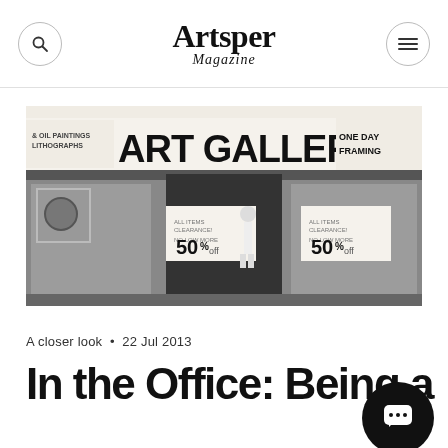Artsper Magazine
[Figure (photo): Black and white photograph of a storefront art gallery. The sign reads 'ART GALLERY ONE DAY FRAMING' and smaller text on the left reads '& OIL PAINTINGS LITHOGRAPHS'. A person in white clothing walks past the entrance. Signs in the windows advertise '50% off'.]
A closer look  •  22 Jul 2013
In the Office: Being a